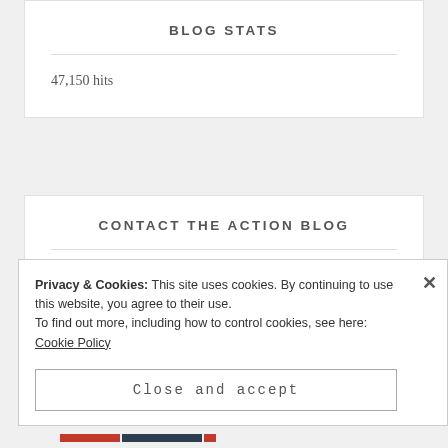BLOG STATS
47,150 hits
CONTACT THE ACTION BLOG
TheActionBlogUSA@Gmail.com
Privacy & Cookies: This site uses cookies. By continuing to use this website, you agree to their use.
To find out more, including how to control cookies, see here: Cookie Policy
Close and accept